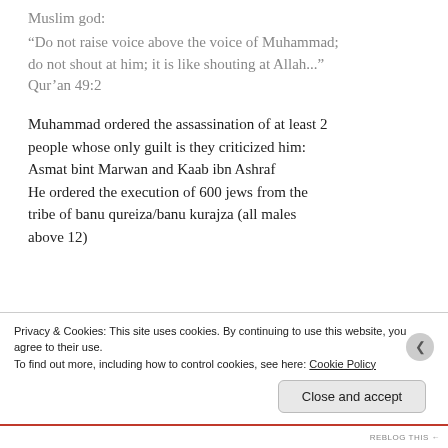Muslim god:
“Do not raise voice above the voice of Muhammad; do not shout at him; it is like shouting at Allah...”
Qur’an 49:2
Muhammad ordered the assassination of at least 2 people whose only guilt is they criticized him: Asmat bint Marwan and Kaab ibn Ashraf
He ordered the execution of 600 jews from the tribe of banu qureiza/banu kurajza (all males above 12)
Privacy & Cookies: This site uses cookies. By continuing to use this website, you agree to their use.
To find out more, including how to control cookies, see here: Cookie Policy
Close and accept